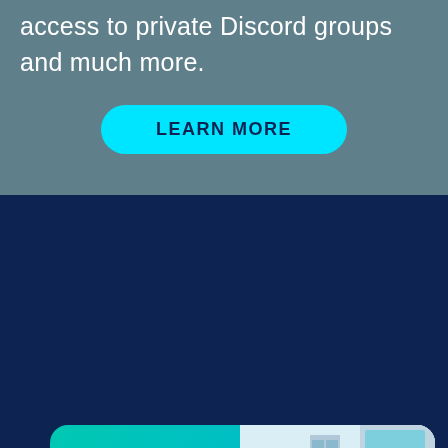access to private Discord groups and much more.
[Figure (other): Cyan pill-shaped LEARN MORE button on teal-gray background]
[Figure (other): Mobix.AI promotional card with teal gradient showing Mobix logo on the left and an isometric city street scene with coins and a person on a scooter on the right, with a play button overlay]